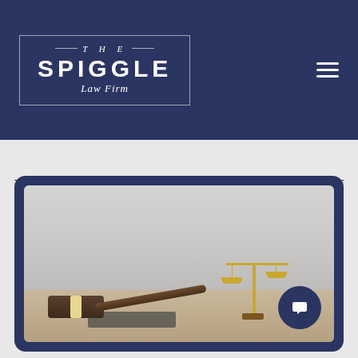THE SPIGGLE Law Firm
[Figure (screenshot): Law firm website screenshot showing The Spiggle Law Firm logo on a dark navy navigation bar, followed by a hero image of a gavel and scales of justice on a desk, with a chat popup that reads 'Have questions? I'm happy to help.']
Have questions? I'm happy to help.